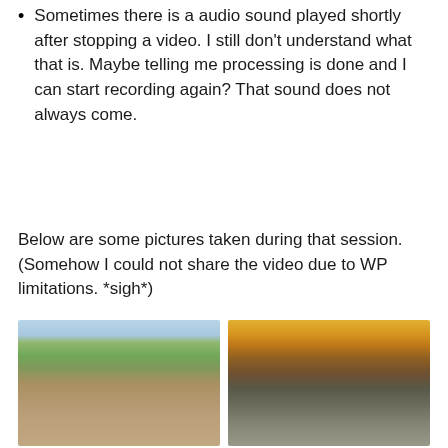Sometimes there is a audio sound played shortly after stopping a video. I still don't understand what that is. Maybe telling me processing is done and I can start recording again? That sound does not always come.
Below are some pictures taken during that session. (Somehow I could not share the video due to WP limitations. *sigh*)
[Figure (photo): Outdoor park path with trees and green grass, hills in background, daytime]
[Figure (photo): Bike path along a lake at sunset with cyclists and palm trees]
[Figure (photo): Park scene at dusk with bare trees, open grass, and people in background]